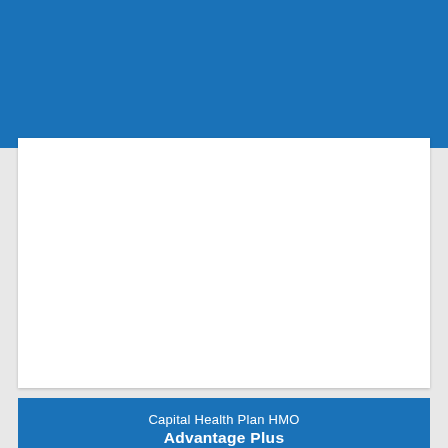[Figure (other): Blue banner at top of page — solid blue (#1a72b8) rectangular header area]
[Figure (other): White card/panel below the blue banner — empty white rectangular area]
Capital Health Plan HMO Advantage Plus
[Figure (other): Partial white card at bottom of page]